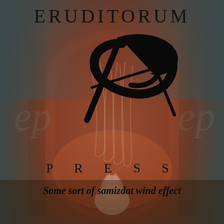[Figure (illustration): Background illustration showing a fantasy scene with arched doorways and columns, warm reddish-brown tones, overlaid with a gradient from dark teal/grey at top corners to reddish-brown in center and bottom. A white rabbit-like figure is visible at the bottom center. The background also shows watermark-style EP logo repeating on the sides.]
ERUDITORUM
[Figure (logo): Eruditorum Press logo: a stylized EP monogram in flowing black calligraphic script with swooping curves and sharp lines]
PRESS
Some sort of samizdat wind effect